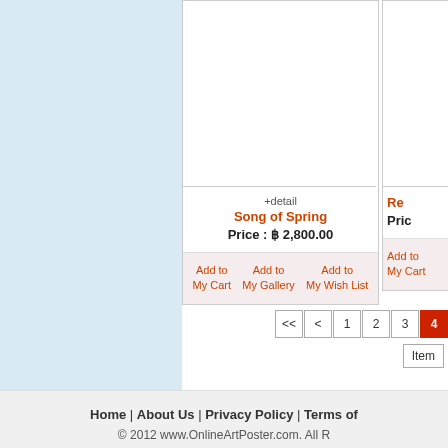[Figure (illustration): Light blue sidebar navigation panel]
+detail
Song of Spring
Price : ฿ 2,800.00
Add to My Cart | Add to My Gallery | Add to My Wish List
Re...
Pric...
Add to My Cart
<< < 1 2 3 4
Item
Home | About Us | Privacy Policy | Terms of
© 2012 www.OnlineArtPoster.com. All R